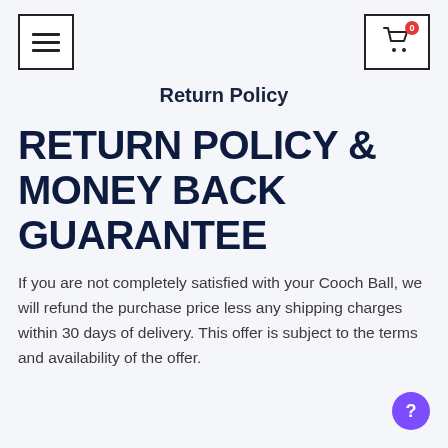Menu | Cart (0)
Return Policy
RETURN POLICY & MONEY BACK GUARANTEE
If you are not completely satisfied with your Cooch Ball, we will refund the purchase price less any shipping charges within 30 days of delivery. This offer is subject to the terms and availability of the offer.